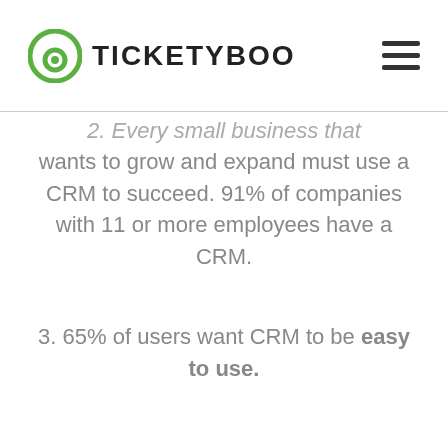TICKETYBOO
2. Every small business that wants to grow and expand must use a CRM to succeed. 91% of companies with 11 or more employees have a CRM.
3.  65% of users want CRM to be easy to use.